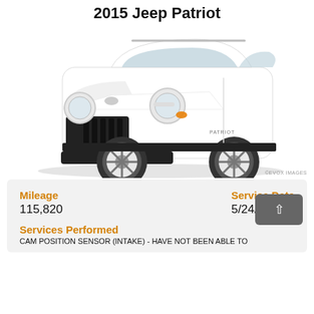2015 Jeep Patriot
[Figure (photo): White 2015 Jeep Patriot SUV photographed from a front three-quarter angle on a white background. The vehicle is white with black trim, chrome grille, and silver alloy wheels.]
©EVOX IMAGES
Mileage
115,820
Service Date
5/24/2022
Services Performed
CAM POSITION SENSOR (INTAKE) - HAVE NOT BEEN ABLE TO